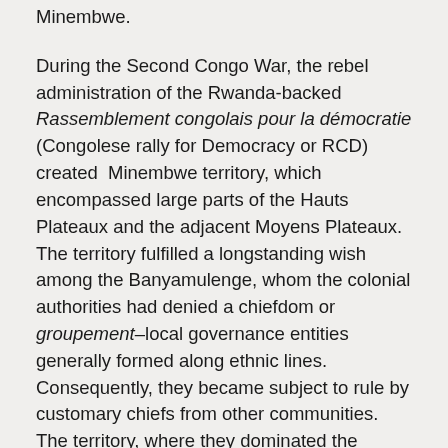( … ) Minembwe.
During the Second Congo War, the rebel administration of the Rwanda-backed Rassemblement congolais pour la démocratie (Congolese rally for Democracy or RCD) created Minembwe territory, which encompassed large parts of the Hauts Plateaux and the adjacent Moyens Plateaux. The territory fulfilled a longstanding wish among the Banyamulenge, whom the colonial authorities had denied a chiefdom or groupement–local governance entities generally formed along ethnic lines. Consequently, they became subject to rule by customary chiefs from other communities. The territory, where they dominated the administration, resolved this. Moreover, anticipating future elections, the territory, which is an electoral district, would have allowed the Banyamulenge to increase their political representation in parliament. Being a minority in each of